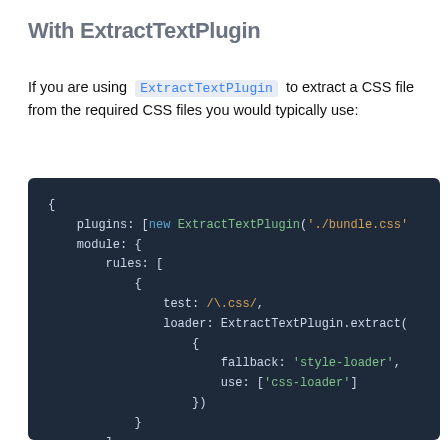With ExtractTextPlugin
If you are using ExtractTextPlugin to extract a CSS file from the required CSS files you would typically use:
[Figure (screenshot): Dark-themed code block showing JavaScript webpack configuration using ExtractTextPlugin with plugins array, module rules, test regex /\.css/, loader: ExtractTextPlugin.extract with fallback 'style-loader' and use ['css-loader']]